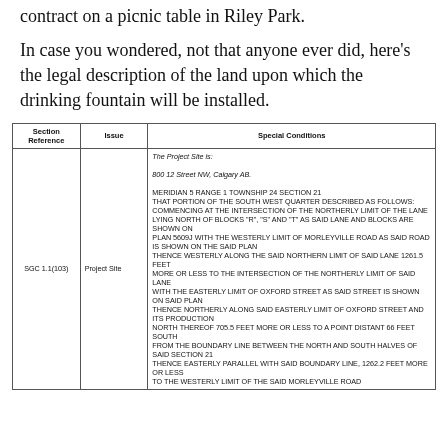contract on a picnic table in Riley Park.
In case you wondered, not that anyone ever did, here's the legal description of the land upon which the drinking fountain will be installed.
| Section Reference | Issue | Special Conditions |
| --- | --- | --- |
| SGC 1.1(103) | Project Site | The Project Site is:

800 12 Street NW, Calgary AB.

MERIDIAN 5 RANGE 1 TOWNSHIP 24 SECTION 21
THAT PORTION OF THE SOUTH WEST QUARTER DESCRIBED AS FOLLOWS:
COMMENCING AT THE INTERSECTION OF THE NORTHERLY LIMIT OF THE LANE LYING NORTH OF BLOCKS "R", "S" AND "T" AS SAID LANE AND BLOCKS ARE SHOWN ON
PLAN 5609J WITH THE WESTERLY LIMIT OF MORLEYVILLE ROAD AS SAID ROAD IS SHOWN ON THE SAID PLAN
THENCE WESTERLY ALONG THE SAID NORTHERN LIMIT OF SAID LANE 1261.5 FEET
MORE OR LESS TO THE INTERSECTION OF THE NORTHERLY LIMIT OF SAID LANE
WITH THE EASTERLY LIMIT OF OXFORD STREET AS SAID STREET IS SHOWN ON SAID PLAN
THENCE NORTHERLY ALONG SAID EASTERLY LIMIT OF OXFORD STREET AND ITS PRODUCTION
NORTH THEREOF 705.5 FEET MORE OR LESS TO A POINT DISTANT 66 FEET SOUTH
FROM THE BOUNDARY LINE BETWEEN THE NORTH AND SOUTH HALVES OF SAID SECTION 21
THENCE EASTERLY PARALLEL WITH SAID BOUNDARY LINE, 1262.2 FEET MORE OR LESS
TO THE WESTERLY LIMIT OF THE SAID MORLEYVILLE ROAD |